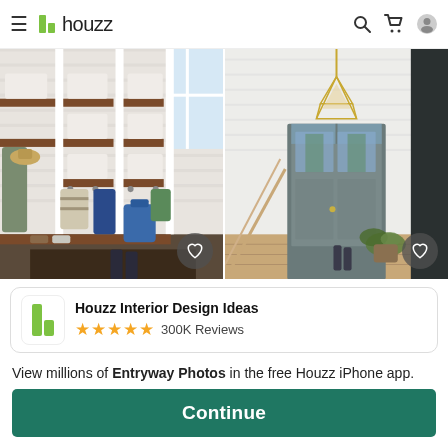≡ h houzz
[Figure (photo): Two interior design photos side by side: left shows a mudroom with white shiplap walls, dark wood shelves, hooks with bags and jackets, and a blue backpack; right shows a bright white entryway with a geometric gold pendant light, gray front door with glass panels, staircase with wood railing, and potted plant.]
Houzz Interior Design Ideas ★★★★★ 300K Reviews
View millions of Entryway Photos in the free Houzz iPhone app.
Continue
Go to Mobile Site